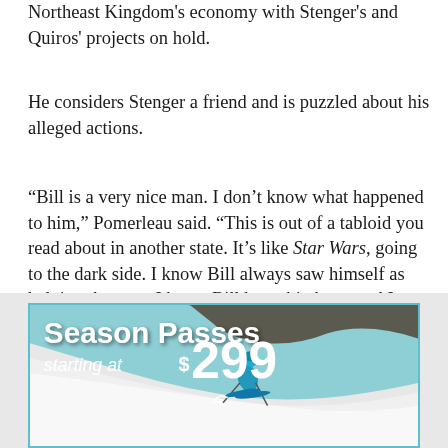Northeast Kingdom's economy with Stenger's and Quiros' projects on hold.
He considers Stenger a friend and is puzzled about his alleged actions.
“Bill is a very nice man. I don’t know what happened to him,” Pomerleau said. “This is out of a tabloid you read about in another state. It’s like Star Wars, going to the dark side. I know Bill always saw himself as helping the area. I know Bill has a big heart and I know he wanted to help the Kingdom. Why he went astray, or let himself be led astray, I don’t know.”
[Figure (other): Advertisement banner: 'Season Passes starting at $299' with a skier on a snowy slope background. Teal/cyan color scheme with white text.]